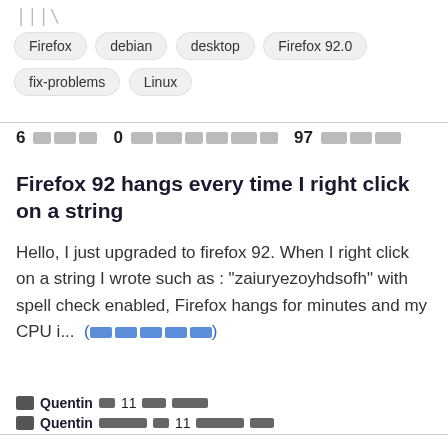|||\
Firefox
debian
desktop
Firefox 92.0
fix-problems
Linux
6 [redacted] 0 [redacted] 97 [redacted]
Firefox 92 hangs every time I right click on a string
Hello, I just upgraded to firefox 92. When I right click on a string I wrote such as : "zaiuryezoyhdsofh" with spell check enabled, Firefox hangs for minutes and my CPU i... (more)
Quentin [redacted] 11 [redacted]
Quentin [redacted] 11 [redacted]
✓ | ||| \ Firefox hate debian desktop